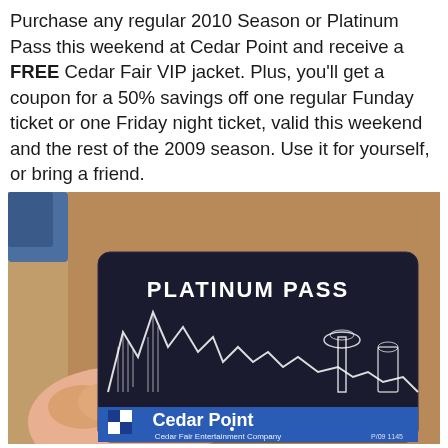Purchase any regular 2010 Season or Platinum Pass this weekend at Cedar Point and receive a FREE Cedar Fair VIP jacket. Plus, you'll get a coupon for a 50% savings off one regular Funday ticket or one Friday night ticket, valid this weekend and the rest of the 2009 season. Use it for yourself, or bring a friend.
[Figure (photo): A hand holding a Cedar Point Platinum Pass card (dark/black card with white etched roller coaster skyline design). The card reads 'PLATINUM PASS' at the top right, features the Cedar Point logo with rollercoasters, and 'Cedar Fair Entertainment Company' at the bottom. The background shows brick pavement outdoors.]